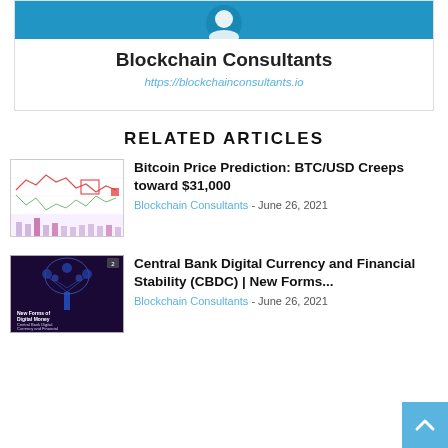[Figure (logo): Blockchain Consultants logo with blue background and circular icon]
Blockchain Consultants
https://blockchainconsultants.io
RELATED ARTICLES
[Figure (screenshot): Bitcoin price chart showing BTC/USD candlestick chart creeping toward $31,000]
Bitcoin Price Prediction: BTC/USD Creeps toward $31,000
Blockchain Consultants - June 26, 2021
[Figure (illustration): Dark purple promotional image for Central Bank Digital Currency and Financial Stability (CBDC) with digital tree illustration]
Central Bank Digital Currency and Financial Stability (CBDC) | New Forms...
Blockchain Consultants - June 26, 2021